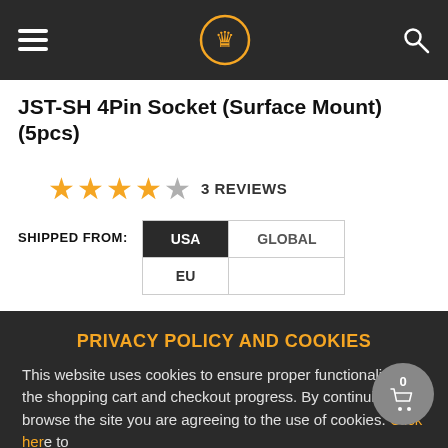JST-SH 4Pin Socket (Surface Mount) (5pcs) — navigation header
JST-SH 4Pin Socket (Surface Mount) (5pcs)
★★★★☆ 3 REVIEWS
SHIPPED FROM: USA | GLOBAL | EU
PRIVACY POLICY AND COOKIES
This website uses cookies to ensure proper functionality of the shopping cart and checkout progress. By continuing to browse the site you are agreeing to the use of cookies. Click here to learn about cookie policy.
ACCEPT AND CLOSE ✕